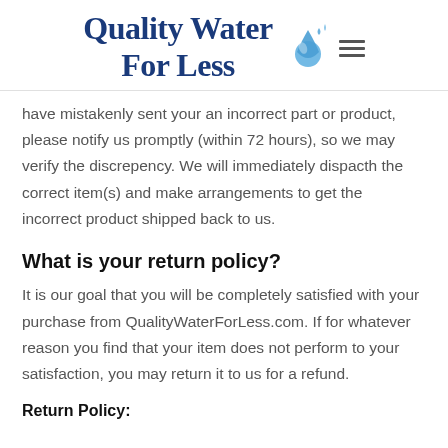Quality Water For Less
have mistakenly sent your an incorrect part or product, please notify us promptly (within 72 hours), so we may verify the discrepency. We will immediately dispacth the correct item(s) and make arrangements to get the incorrect product shipped back to us.
What is your return policy?
It is our goal that you will be completely satisfied with your purchase from QualityWaterForLess.com. If for whatever reason you find that your item does not perform to your satisfaction, you may return it to us for a refund.
Return Policy: